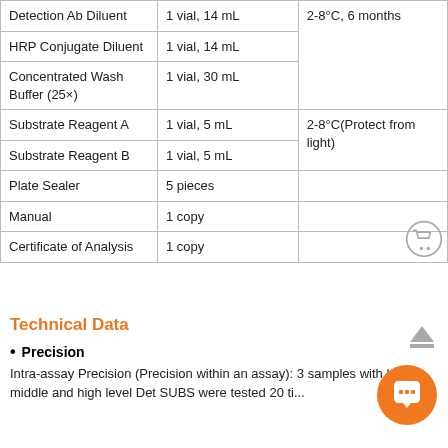| Component | Quantity | Storage |
| --- | --- | --- |
| Detection Ab Diluent | 1 vial, 14 mL | 2-8°C, 6 months |
| HRP Conjugate Diluent | 1 vial, 14 mL |  |
| Concentrated Wash Buffer (25×) | 1 vial, 30 mL |  |
| Substrate Reagent A | 1 vial, 5 mL | 2-8°C(Protect from light) |
| Substrate Reagent B | 1 vial, 5 mL |  |
| Plate Sealer | 5 pieces |  |
| Manual | 1 copy |  |
| Certificate of Analysis | 1 copy |  |
Technical Data
Precision
Intra-assay Precision (Precision within an assay): 3 samples with low, middle and high level Det SUBS were tested 20 ti...